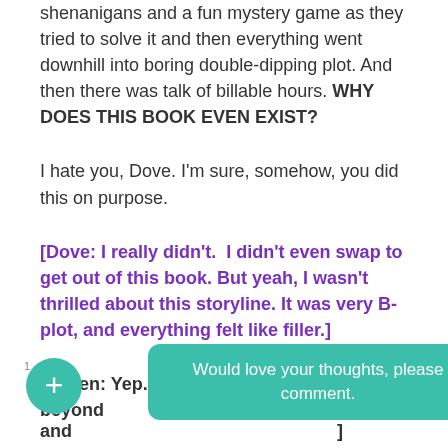shenanigans and a fun mystery game as they tried to solve it and then everything went downhill into boring double-dipping plot. And then there was talk of billable hours. WHY DOES THIS BOOK EVEN EXIST?
I hate you, Dove. I'm sure, somehow, you did this on purpose.
[Dove: I really didn't.  I didn't even swap to get out of this book. But yeah, I wasn't thrilled about this storyline. It was very B-plot, and everything felt like filler.]
[Raven: Yep. Big bag of Meh. Jumbled beyond all ... was great and ...
Would love your thoughts, please comment.